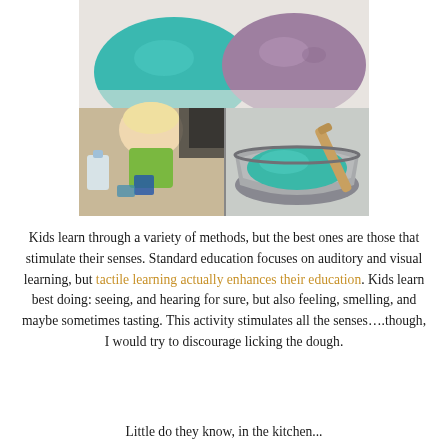[Figure (photo): Three photos showing play dough activity: top photo shows two balls of dough (teal and purple/mauve), bottom-left shows a child mixing ingredients in a kitchen, bottom-right shows a metal bowl with teal dough being stirred with a wooden spoon.]
Kids learn through a variety of methods, but the best ones are those that stimulate their senses. Standard education focuses on auditory and visual learning, but tactile learning actually enhances their education. Kids learn best doing: seeing, and hearing for sure, but also feeling, smelling, and maybe sometimes tasting. This activity stimulates all the senses….though, I would try to discourage licking the dough.
Little do they know, in the kitchen...